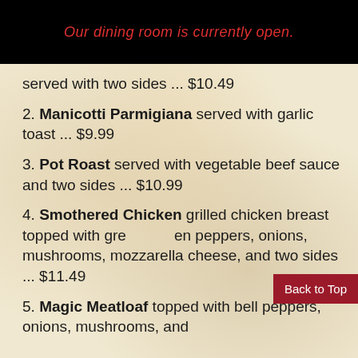Our dining room is currently open.
served with two sides ... $10.49
2. Manicotti Parmigiana served with garlic toast ... $9.99
3. Pot Roast served with vegetable beef sauce and two sides ... $10.99
4. Smothered Chicken grilled chicken breast topped with green peppers, onions, mushrooms, mozzarella cheese, and two sides ... $11.49
5. Magic Meatloaf topped with bell peppers, onions, mushrooms, and